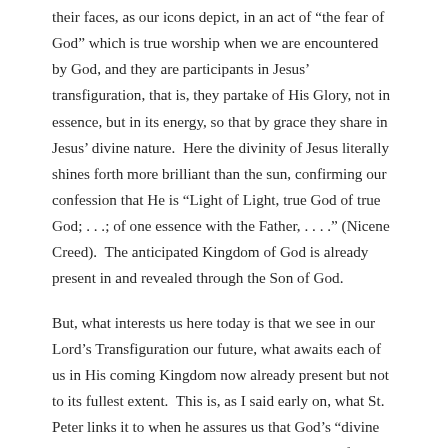their faces, as our icons depict, in an act of “the fear of God” which is true worship when we are encountered by God, and they are participants in Jesus’ transfiguration, that is, they partake of His Glory, not in essence, but in its energy, so that by grace they share in Jesus’ divine nature.  Here the divinity of Jesus literally shines forth more brilliant than the sun, confirming our confession that He is “Light of Light, true God of true God; . . .; of one essence with the Father, . . . .” (Nicene Creed).  The anticipated Kingdom of God is already present in and revealed through the Son of God.
But, what interests us here today is that we see in our Lord’s Transfiguration our future, what awaits each of us in His coming Kingdom now already present but not to its fullest extent.  This is, as I said early on, what St. Peter links it to when he assures us that God’s “divine power has given to us all things that pertain to life and godliness, through the knowledge of Him Who called us by glory and virtue. . . . that [we] may be partakers of the